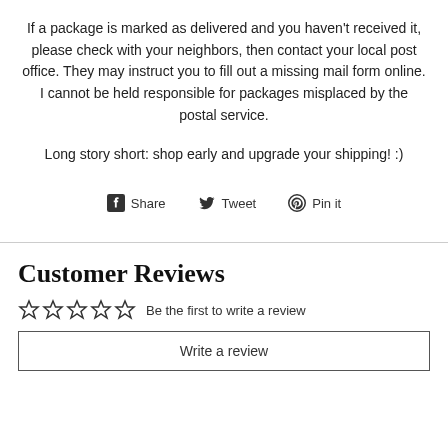If a package is marked as delivered and you haven't received it, please check with your neighbors, then contact your local post office. They may instruct you to fill out a missing mail form online. I cannot be held responsible for packages misplaced by the postal service.
Long story short: shop early and upgrade your shipping! :)
[Figure (infographic): Social share buttons: Facebook Share, Twitter Tweet, Pinterest Pin it]
Customer Reviews
☆☆☆☆☆  Be the first to write a review
Write a review